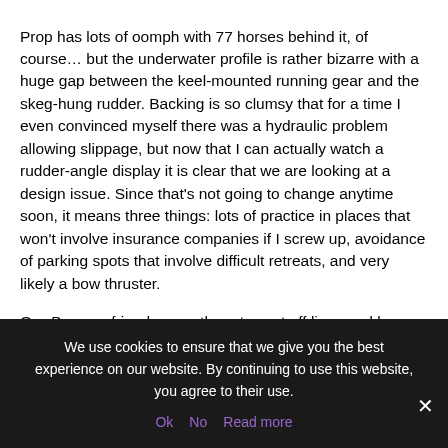Prop has lots of oomph with 77 horses behind it, of course… but the underwater profile is rather bizarre with a huge gap between the keel-mounted running gear and the skeg-hung rudder. Backing is so clumsy that for a time I even convinced myself there was a hydraulic problem allowing slippage, but now that I can actually watch a rudder-angle display it is clear that we are looking at a design issue. Since that's not going to change anytime soon, it means three things: lots of practice in places that won't involve insurance companies if I screw up, avoidance of parking spots that involve difficult retreats, and very likely a bow thruster.
Our Baccara friends were there to cast off lines and keep her aimed right, however, so this particular launch wasn't
We use cookies to ensure that we give you the best experience on our website. By continuing to use this website, you agree to their use.
Ok  No  Read more